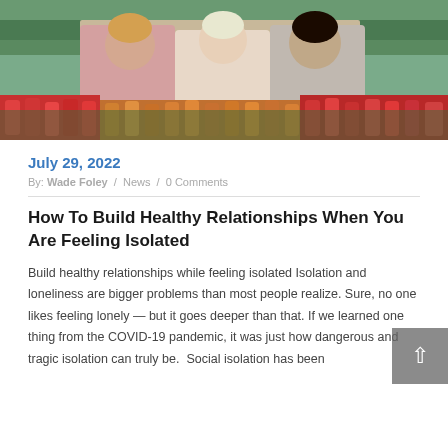[Figure (photo): Three young women laughing and talking outdoors in a colorful tulip flower field]
July 29, 2022
By: Wade Foley / News / 0 Comments
How To Build Healthy Relationships When You Are Feeling Isolated
Build healthy relationships while feeling isolated Isolation and loneliness are bigger problems than most people realize. Sure, no one likes feeling lonely — but it goes deeper than that. If we learned one thing from the COVID-19 pandemic, it was just how dangerous and tragic isolation can truly be. Social isolation has been